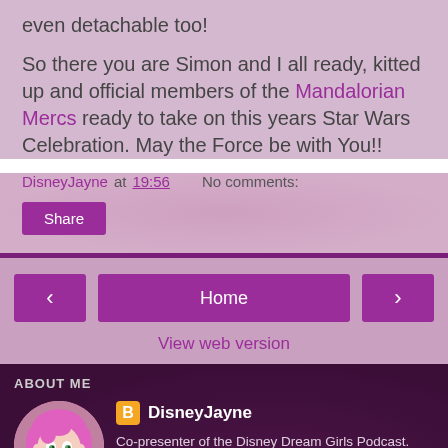even detachable too!
So there you are Simon and I all ready, kitted up and official members of the Mandalorian Mercs ready to take on this years Star Wars Celebration. May the Force be with You!!
DisneyJayne at 19:56   No comments:
Share
Home
View web version
ABOUT ME
DisneyJayne
Co-presenter of the Disney Dream Girls Podcast.

A married mum of two working in pre-school education in the UK.